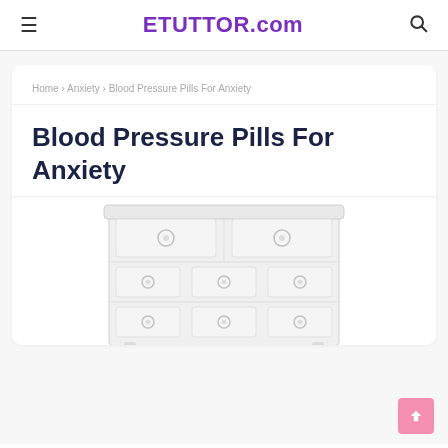≡  ETUTTOR.com  🔍
Home › Anxiety › Blood Pressure Pills For Anxiety
Blood Pressure Pills For Anxiety
[Figure (illustration): Illustration of a white dresser/chest of drawers with round knobs, partially visible, soft light gray tones]